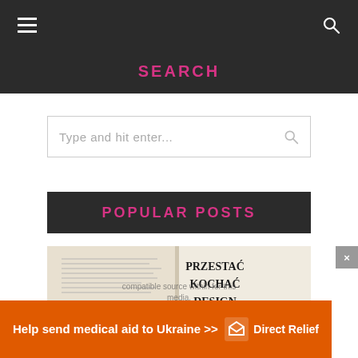Navigation bar with hamburger menu and search icon
SEARCH
Type and hit enter...
POPULAR POSTS
[Figure (photo): Hands holding an open book with text 'PRZESTAĆ KOCHAĆ DESIGN' and 'AKTER K' visible on the pages]
compatible source within for this media.
[Figure (other): Direct Relief advertisement banner: 'Help send medical aid to Ukraine >>' with Direct Relief logo]